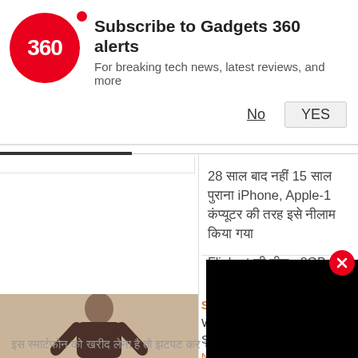[Figure (logo): Gadgets 360 red circle logo with '360' text]
Subscribe to Gadgets 360 alerts
For breaking tech news, latest reviews, and more
No    YES
28 ??? ??? ???? 15 ??? ??????? iPhone, Apple-1 ??????? ?? ?? ??? ???? ????
Flipkart ?? ???? : 8GB RAM, 128GB ??????? ???? 5G ??? 24,999 ?? ???? ?? ??? ?? ??? Rs 749 ???
Sponsored
What Causes Excessive D
Some May Wish They Rea
Narcolepsy | Search Ads
?? ??????? ?? ???? ???? ?? ???? ???? ???????, ???? ???? ?????? ???? ???????